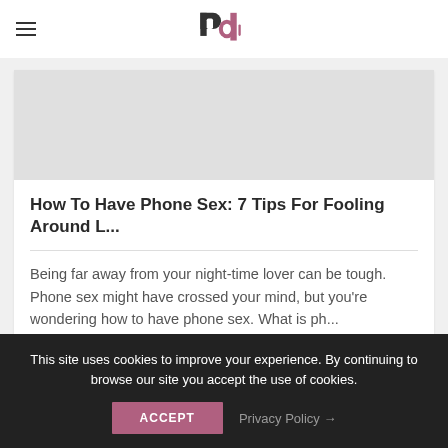[logo: PD icon]
[Figure (illustration): Article thumbnail image placeholder area (light gray)]
How To Have Phone Sex: 7 Tips For Fooling Around L...
Being far away from your night-time lover can be tough. Phone sex might have crossed your mind, but you’re wondering how to have phone sex. What is ph...
This site uses cookies to improve your experience. By continuing to browse our site you accept the use of cookies.
ACCEPT   Privacy Policy →